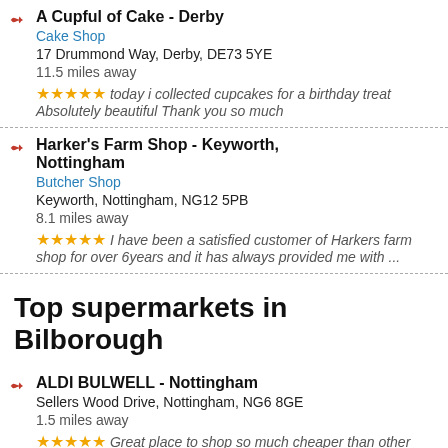A Cupful of Cake - Derby
Cake Shop
17 Drummond Way, Derby, DE73 5YE
11.5 miles away
★★★★★ today i collected cupcakes for a birthday treat Absolutely beautiful Thank you so much
Harker's Farm Shop - Keyworth, Nottingham
Butcher Shop
Keyworth, Nottingham, NG12 5PB
8.1 miles away
★★★★★ I have been a satisfied customer of Harkers farm shop for over 6years and it has always provided me with ...
Top supermarkets in Bilborough
ALDI BULWELL - Nottingham
Sellers Wood Drive, Nottingham, NG6 8GE
1.5 miles away
★★★★★ Great place to shop so much cheaper than other supermarkets, good